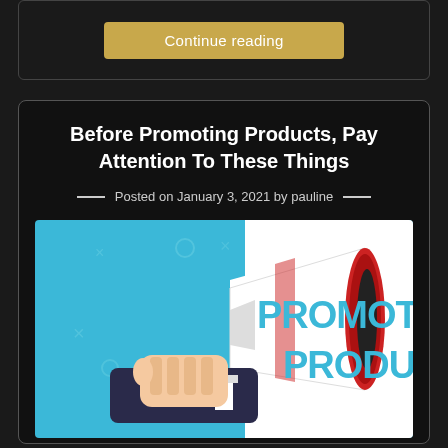Continue reading
Before Promoting Products, Pay Attention To These Things
Posted on January 3, 2021 by pauline
[Figure (illustration): Illustration of a hand holding a megaphone/bullhorn with text 'PROMOTIONAL PRODUCTS!' on a blue and white background with decorative symbols]